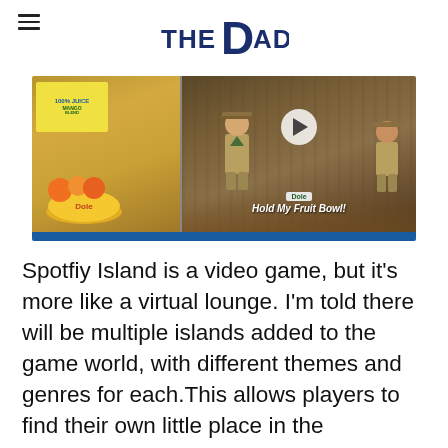THE DAD
[Figure (photo): Split image: left side shows a Dole 100% juice mango product package with a yellow fruit bowl and orange slices on a wooden surface; right side shows a video thumbnail of scout/outdoor scene with two people in scout uniforms in a wooded area, a play button overlay, a Dole logo badge, and the text 'Hold My Fruit Bowl!' at the bottom with a blue bar.]
Spotfiy Island is a video game, but it's more like a virtual lounge. I'm told there will be multiple islands added to the game world, with different themes and genres for each.This allows players to find their own little place in the metaverse based on their taste and creativity. Notably the island features a large stage